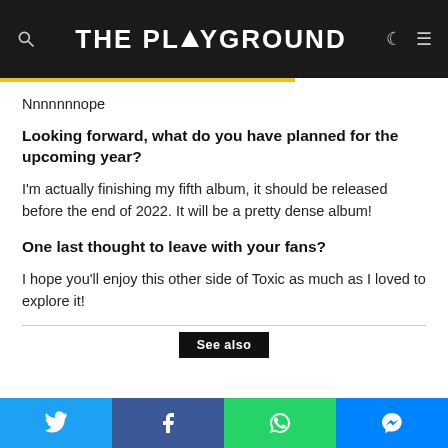THE PLAYGROUND
Nnnnnnnope
Looking forward, what do you have planned for the upcoming year?
I'm actually finishing my fifth album, it should be released before the end of 2022. It will be a pretty dense album!
One last thought to leave with your fans?
I hope you'll enjoy this other side of Toxic as much as I loved to explore it!
See also